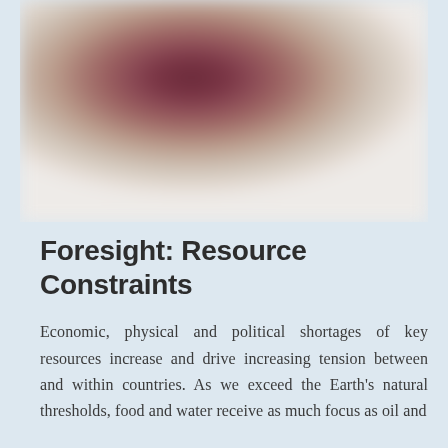[Figure (photo): A blurred photographic image with dark reddish-brown tones in the upper center, gradually fading to lighter beige and grey tones toward the bottom, suggesting a landscape or abstract subject.]
Foresight: Resource Constraints
Economic, physical and political shortages of key resources increase and drive increasing tension between and within countries. As we exceed the Earth's natural thresholds, food and water receive as much focus as oil and